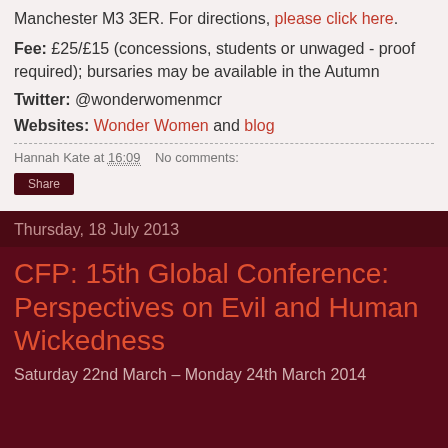Manchester M3 3ER. For directions, please click here.
Fee: £25/£15 (concessions, students or unwaged - proof required); bursaries may be available in the Autumn
Twitter: @wonderwomenmcr
Websites: Wonder Women and blog
Hannah Kate at 16:09   No comments:
Share
Thursday, 18 July 2013
CFP: 15th Global Conference: Perspectives on Evil and Human Wickedness
Saturday 22nd March – Monday 24th March 2014